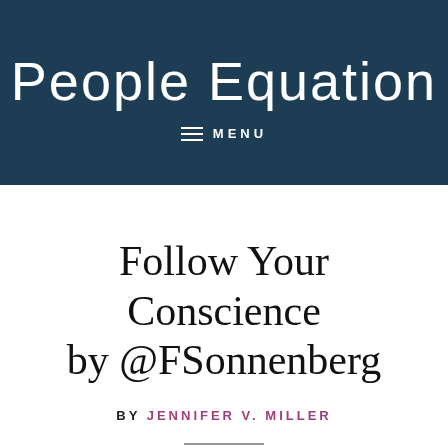People Equation
MENU
Follow Your Conscience by @FSonnenberg
BY JENNIFER V. MILLER